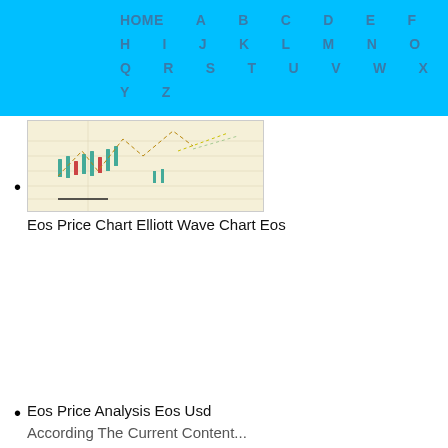HOME A B C D E F G H I J K L M N O P Q R S T U V W X Y Z
[Figure (screenshot): Thumbnail of Eos Price Chart Elliott Wave Chart showing candlestick chart with Elliott Wave analysis on a light beige background]
Eos Price Chart Elliott Wave Chart Eos
Eos Price Analysis Eos Usd According The Current Content...